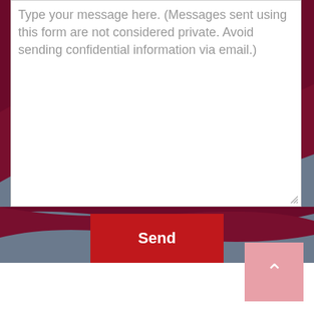Type your message here. (Messages sent using this form are not considered private. Avoid sending confidential information via email.)
[Figure (illustration): Decorative background with dark maroon and slate-blue wave shapes forming the lower portion of a contact form section]
Send
[Figure (illustration): Pink/rose-colored square button with a white upward-pointing chevron arrow, used as a back-to-top navigation element]